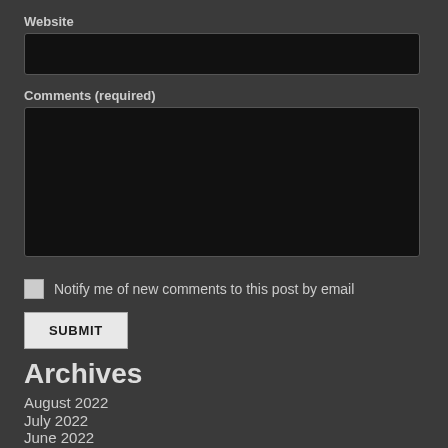Website
Comments (required)
Notify me of new comments to this post by email
SUBMIT
Archives
August 2022
July 2022
June 2022
May 2022